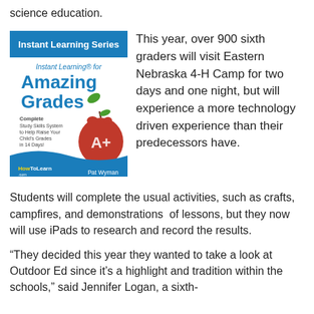science education.
[Figure (illustration): Book cover for 'Amazing Grades' from the Instant Learning Series by Pat Wyman, published by HowToLearn.com. Features a red apple with A+ on it and text: Complete Study Skills System to Help Raise Your Child's Grades in 14 Days!]
This year, over 900 sixth graders will visit Eastern Nebraska 4-H Camp for two days and one night, but will experience a more technology driven experience than their predecessors have.
Students will complete the usual activities, such as crafts, campfires, and demonstrations  of lessons, but they now will use iPads to research and record the results.
“They decided this year they wanted to take a look at Outdoor Ed since it’s a highlight and tradition within the schools,” said Jennifer Logan, a sixth-